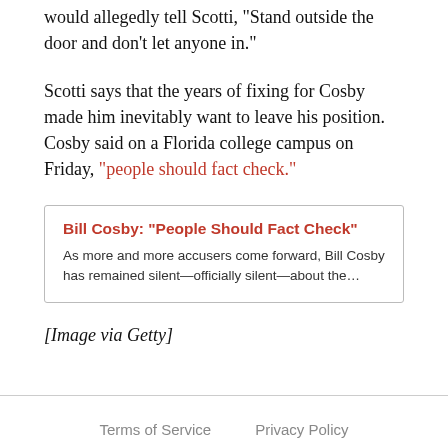would allegedly tell Scotti, "Stand outside the door and don't let anyone in."
Scotti says that the years of fixing for Cosby made him inevitably want to leave his position. Cosby said on a Florida college campus on Friday, "people should fact check."
Bill Cosby: "People Should Fact Check"
As more and more accusers come forward, Bill Cosby has remained silent—officially silent—about the…
[Image via Getty]
Terms of Service    Privacy Policy